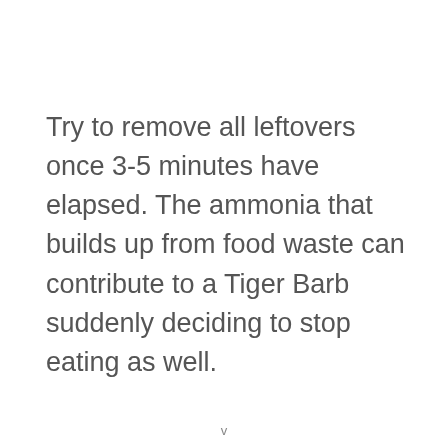Try to remove all leftovers once 3-5 minutes have elapsed. The ammonia that builds up from food waste can contribute to a Tiger Barb suddenly deciding to stop eating as well.
v